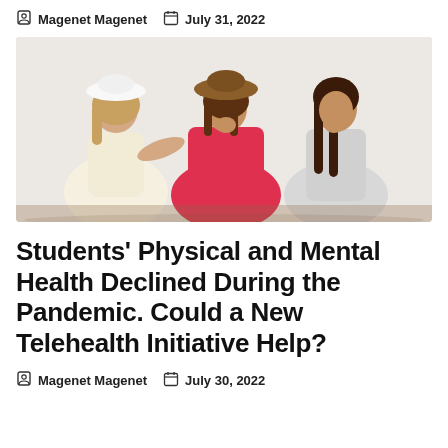Magenet Magenet   July 31, 2022
[Figure (photo): Three young women sitting together laughing, wearing summer hats and colorful dresses (white, red, gray), outdoors in a bright setting.]
Students' Physical and Mental Health Declined During the Pandemic. Could a New Telehealth Initiative Help?
Magenet Magenet   July 30, 2022